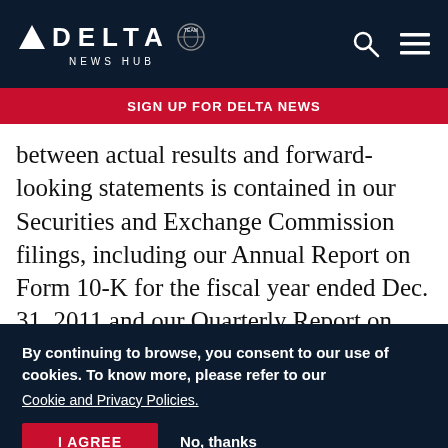DELTA NEWS HUB
SIGN UP FOR DELTA NEWS
between actual results and forward-looking statements is contained in our Securities and Exchange Commission filings, including our Annual Report on Form 10-K for the fiscal year ended Dec. 31, 2011 and our Quarterly Report on Form 10-Q for the quarterly period ended September 30, 2012.  Caution should be taken
By continuing to browse, you consent to our use of cookies. To know more, please refer to our Cookie and Privacy Policies.
I AGREE   No, thanks